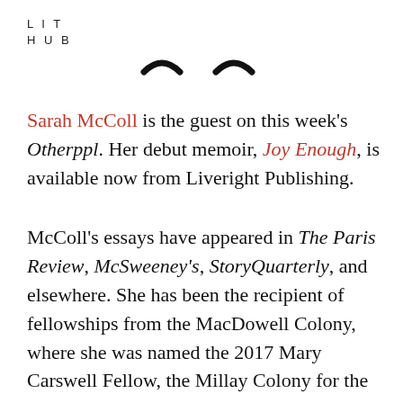LIT
HUB
[Figure (illustration): Two small crescent or arc shapes resembling a stylized face or logo mark, positioned side by side]
Sarah McColl is the guest on this week's Otherppl. Her debut memoir, Joy Enough, is available now from Liveright Publishing.
McColl's essays have appeared in The Paris Review, McSweeney's, StoryQuarterly, and elsewhere. She has been the recipient of fellowships from the MacDowell Colony, where she was named the 2017 Mary Carswell Fellow, the Millay Colony for the Arts, Ucross Foundation, Vermont Studio Center, Virginia Center for the Creative Arts, and Wrangell